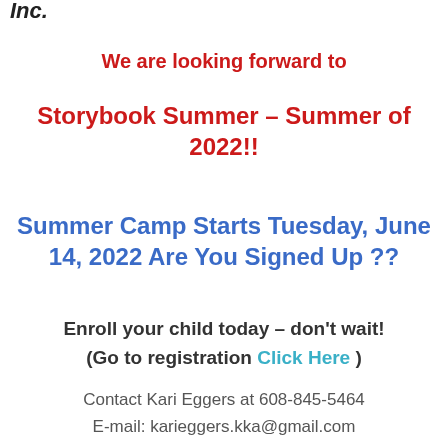Inc.
We are looking forward to
Storybook Summer – Summer of 2022!!
Summer Camp Starts Tuesday, June 14, 2022 Are You Signed Up ??
Enroll your child today – don't wait! (Go to registration Click Here )
Contact Kari Eggers at 608-845-5464 E-mail: karieggers.kka@gmail.com